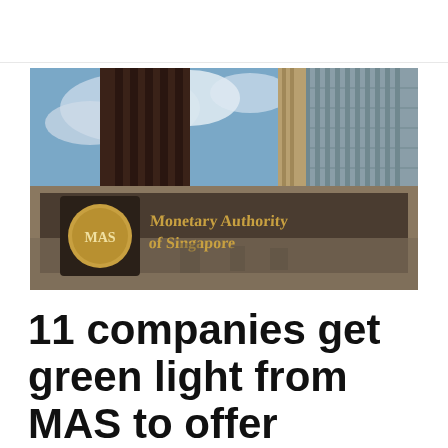[Figure (photo): Upward-angle photograph of the Monetary Authority of Singapore (MAS) building exterior. The foreground shows a large dark stone sign panel with a circular gold MAS medallion/logo on the left and gold lettering reading 'Monetary Authority of Singapore' on the right. Behind the sign, tall modern skyscrapers rise into a partly cloudy sky.]
11 companies get green light from MAS to offer